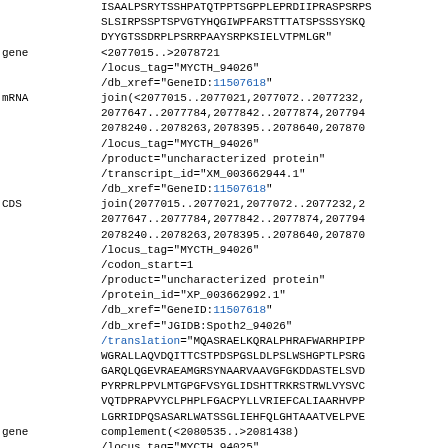ISAALPSRYTSSHPATQTPPTSGPPLEPRDIIPRASPSRPS SLSIRPSSPTSPVGTYHQGIWPFARSTTTATSPSSSYSKQ DYYGTSSDRPLPSRRPAAYSRPKSIELVTPMLGR"
gene  <2077015..>2078721
/locus_tag="MYCTH_94026"
/db_xref="GeneID:11507618"
mRNA  join(<2077015..2077021,2077072..2077232,
2077647..2077784,2077842..2077874,207794
2078240..2078263,2078395..2078640,207870
/locus_tag="MYCTH_94026"
/product="uncharacterized protein"
/transcript_id="XM_003662944.1"
/db_xref="GeneID:11507618"
CDS  join(2077015..2077021,2077072..2077232,2
2077647..2077784,2077842..2077874,207794
2078240..2078263,2078395..2078640,207870
/locus_tag="MYCTH_94026"
/codon_start=1
/product="uncharacterized protein"
/protein_id="XP_003662992.1"
/db_xref="GeneID:11507618"
/db_xref="JGIDB:Spoth2_94026"
/translation="MQASRAELKQRALPHRAFWARHPIPP
WGRALLAQVDQITTCSTPDSPGSLDLPSLWSHGPTLPSRG
GARQLQGEVRAEAMGRSYNAARVAAVGFGKDDASTELSVD
PYRPRLPPVLMTGPGFVSYGLIDSHTTRKRSTRWLVYSVC
VQTDPRAPVYCLPHPLFGACPYLLVRIEFCALIAARHVPP
LGRRIDPQSASARLWATSSGLIEHFQLGHTAAATV ELPVE
gene  complement(<2080535..>2081438)
/locus_tag="MYCTH_94025"
/db_xref="GeneID:11507619"
mRNA  complement(join(<2080535..2080956,208098
/locus_tag="MYCTH_94025"